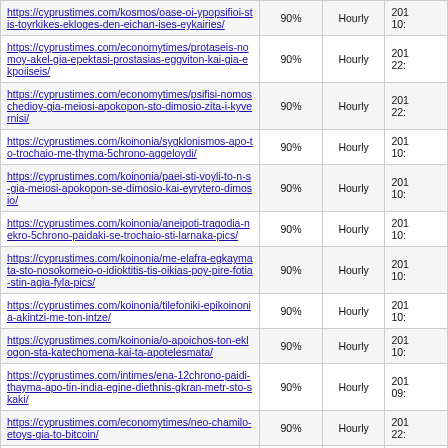| URL | Priority | Change Frequency | Last Modified |
| --- | --- | --- | --- |
| https://cyprustimes.com/kosmos/oase-oi-ypopsifioi-stis-toyrkikes-ekloges-den-eichan-ises-eykairies/ | 90% | Hourly | 201 10: |
| https://cyprustimes.com/economytimes/protaseis-nomoy-akel-gia-epektasi-prostasias-eggviton-kai-gia-ekpoiiseis/ | 90% | Hourly | 201 22: |
| https://cyprustimes.com/economytimes/psifisi-nomoschedioy-gia-meiosi-apokopon-sto-dimosio-zita-i-kyvernisi/ | 90% | Hourly | 201 22: |
| https://cyprustimes.com/koinonia/sygklonismos-apo-to-trochaio-me-thyma-5chrono-aggeloydi/ | 90% | Hourly | 201 10: |
| https://cyprustimes.com/koinonia/paei-sti-voyli-to-n-s-gia-meiosi-apokopon-se-dimosio-kai-eyrytero-dimosio/ | 90% | Hourly | 201 10: |
| https://cyprustimes.com/koinonia/aneipoti-tragodia-nekro-5chrono-paidaki-se-trochaio-sti-larnaka-pics/ | 90% | Hourly | 201 10: |
| https://cyprustimes.com/koinonia/me-elafra-egkaymata-sto-nosokomeio-o-idioktitis-tis-oikias-poy-pire-fotia-stin-agia-fyla-pics/ | 90% | Hourly | 201 10: |
| https://cyprustimes.com/koinonia/tilefoniki-epikoinonia-akintzi-me-ton-intze/ | 90% | Hourly | 201 10: |
| https://cyprustimes.com/koinonia/o-apoichos-ton-eklogon-sta-katechomena-kai-ta-apotelesmata/ | 90% | Hourly | 201 10: |
| https://cyprustimes.com/intimes/ena-12chrono-paidi-thayma-apo-tin-india-egine-diethnis-gkran-metr-sto-skaki/ | 90% | Hourly | 201 09: |
| https://cyprustimes.com/economytimes/neo-chamilo-etoys-gia-to-bitcoin/ | 90% | Hourly | 201 22: |